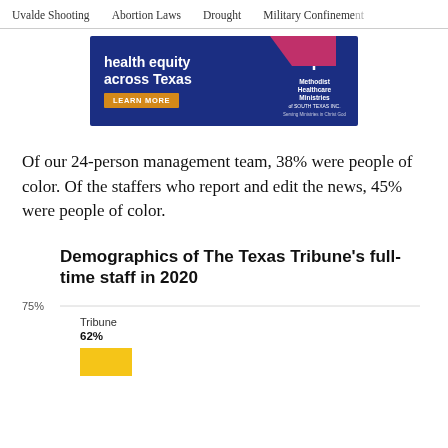Uvalde Shooting  Abortion Laws  Drought  Military Confinement
[Figure (infographic): Advertisement banner for Methodist Healthcare Ministries: 'health equity across Texas' with a LEARN MORE button on a dark navy background]
Of our 24-person management team, 38% were people of color. Of the staffers who report and edit the news, 45% were people of color.
Demographics of The Texas Tribune's full-time staff in 2020
[Figure (bar-chart): Bar chart showing Tribune at 62%, with 75% gridline visible. Yellow/gold bar partially shown.]